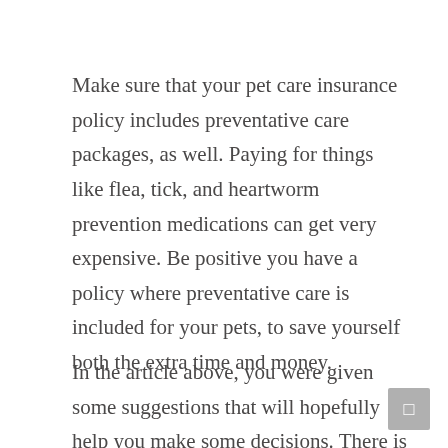Make sure that your pet care insurance policy includes preventative care packages, as well. Paying for things like flea, tick, and heartworm prevention medications can get very expensive. Be positive you have a policy where preventative care is included for your pets, to save yourself both the extra time and money.
In the article above, you were given some suggestions that will hopefully help you make some decisions. There is some much information on insurance that is available. Apply the tip that fits your own circumstances. Make wise decisions regarding insurance.